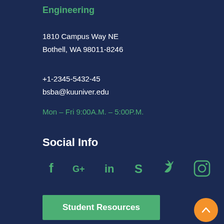Engineering
1810 Campus Way NE
Bothell, WA 98011-8246
+1-2345-5432-45
bsba@kuuniver.edu
Mon – Fri 9:00A.M. – 5:00P.M.
Social Info
[Figure (infographic): Social media icons: Facebook, Google+, LinkedIn, Skype, Twitter, Instagram]
Student Resources